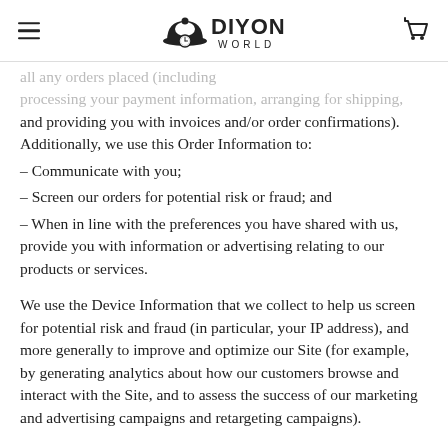DIYON WORLD
all any orders placed (including processing your payment information, arranging for shipping, and providing you with invoices and/or order confirmations). Additionally, we use this Order Information to:
– Communicate with you;
– Screen our orders for potential risk or fraud; and
– When in line with the preferences you have shared with us, provide you with information or advertising relating to our products or services.
We use the Device Information that we collect to help us screen for potential risk and fraud (in particular, your IP address), and more generally to improve and optimize our Site (for example, by generating analytics about how our customers browse and interact with the Site, and to assess the success of our marketing and advertising campaigns and retargeting campaigns).